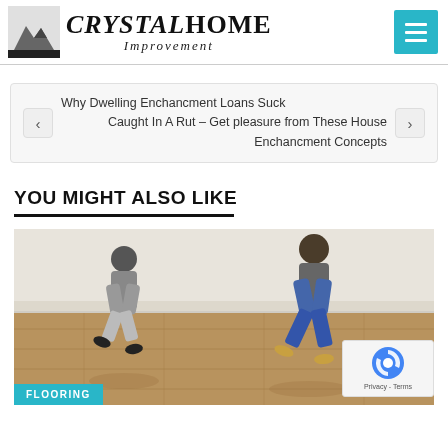CRYSTALHOME Improvement
Why Dwelling Enchancment Loans Suck
Caught In A Rut – Get pleasure from These House Enchancment Concepts
YOU MIGHT ALSO LIKE
[Figure (photo): Two children running on a hardwood floor in an empty room. A FLOORING badge is shown at the bottom left of the image.]